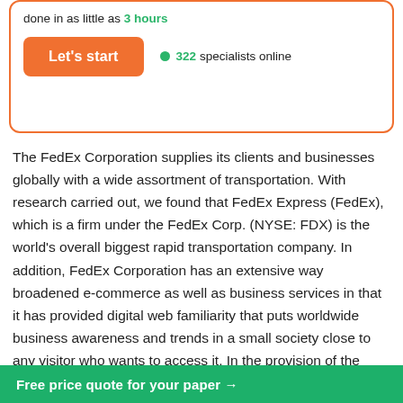done in as little as 3 hours
Let's start   322 specialists online
The FedEx Corporation supplies its clients and businesses globally with a wide assortment of transportation. With research carried out, we found that FedEx Express (FedEx), which is a firm under the FedEx Corp. (NYSE: FDX) is the world's overall biggest rapid transportation company. In addition, FedEx Corporation has an extensive way broadened e-commerce as well as business services in that it has provided digital web familiarity that puts worldwide business awareness and trends in a small society close to any visitor who wants to access it. In the provision of the above-named services, the highest revenue significant
Free price quote for your paper →